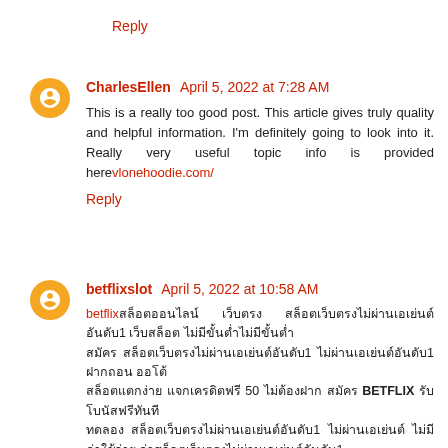Reply
CharlesEllen  April 5, 2022 at 7:28 AM
This is a really too good post. This article gives truly quality and helpful information. I'm definitely going to look into it. Really very useful topic info is provided herevlonehoodie.com/
Reply
betflixslot  April 5, 2022 at 10:58 AM
betflix Thai text content block